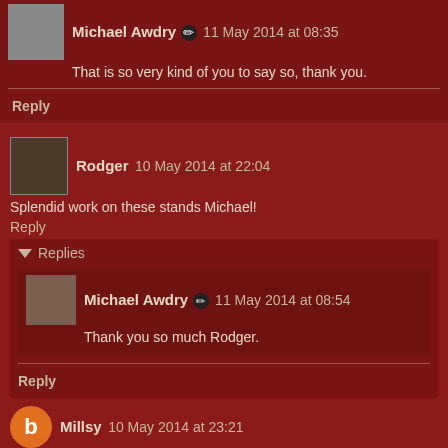Michael Awdry ✏ 11 May 2014 at 08:35
That is so very kind of you to say so, thank you.
Reply
Rodger 10 May 2014 at 22:04
Splendid work on these stands Michael!
Reply
Replies
Michael Awdry ✏ 11 May 2014 at 08:54
Thank you so much Rodger.
Reply
Millsy 10 May 2014 at 23:21